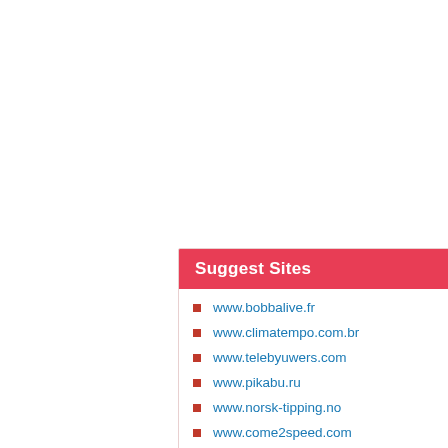Suggest Sites
www.bobbalive.fr
www.climatempo.com.br
www.telebyuwers.com
www.pikabu.ru
www.norsk-tipping.no
www.come2speed.com
www.levidia.ch
www.youtube.cl